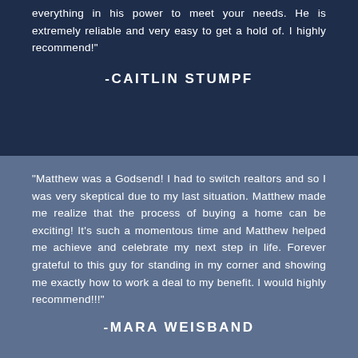everything in his power to meet your needs. He is extremely reliable and very easy to get a hold of. I highly recommend!"
-CAITLIN STUMPF
"Matthew was a Godsend! I had to switch realtors and so I was very skeptical due to my last situation. Matthew made me realize that the process of buying a home can be exciting! It's such a momentous time and Matthew helped me achieve and celebrate my next step in life. Forever grateful to this guy for standing in my corner and showing me exactly how to work a deal to my benefit. I would highly recommend!!!"
-MARA WEISBAND